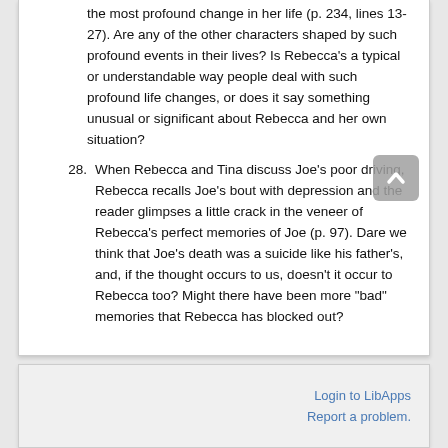the most profound change in her life (p. 234, lines 13-27). Are any of the other characters shaped by such profound events in their lives? Is Rebecca's a typical or understandable way people deal with such profound life changes, or does it say something unusual or significant about Rebecca and her own situation?
28. When Rebecca and Tina discuss Joe's poor driving, Rebecca recalls Joe's bout with depression and the reader glimpses a little crack in the veneer of Rebecca's perfect memories of Joe (p. 97). Dare we think that Joe's death was a suicide like his father's, and, if the thought occurs to us, doesn't it occur to Rebecca too? Might there have been more "bad" memories that Rebecca has blocked out?
Login to LibApps
Report a problem.